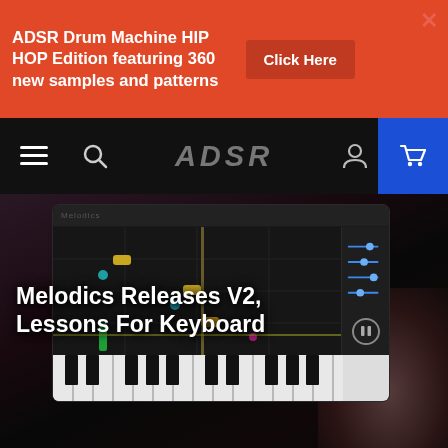ADSR Drum Machine HIP HOP Edition featuring 360 new samples and patterns  Click Here
[Figure (screenshot): ADSR website navigation bar with hamburger menu, search icon, ADSR logo, user icon, and blue cart button]
[Figure (screenshot): Melodics V2 keyboard lessons app screenshot showing piano roll interface with colored note markers, horizontal sliders on right, and piano keyboard at bottom]
Melodics Releases V2, Lessons For Keyboard